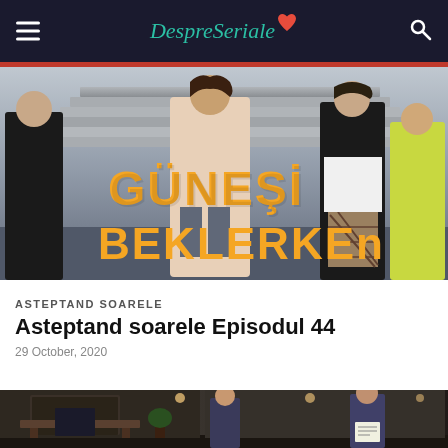DespreSeriale
[Figure (photo): Hero image showing TV show 'Gunesi Beklerken' with multiple characters standing on stairs, with the show title in orange text overlay]
ASTEPTAND SOARELE
Asteptand soarele Episodul 44
29 October, 2020
[Figure (photo): Interior scene showing police officers in a building lobby, one officer writing in a notebook]